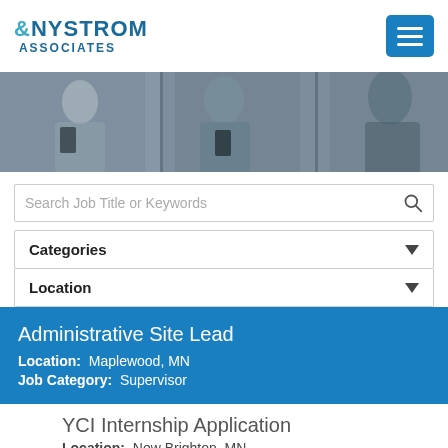Nystrom & Associates
[Figure (photo): Hero banner image showing people in a hallway looking at phones, dark/moody tones]
Search Job Title or Keywords
Categories
Location
Administrative Site Lead
Location: Maplewood, MN
Job Category: Supervisor
YCI Internship Application
Location: New Brighton, MN